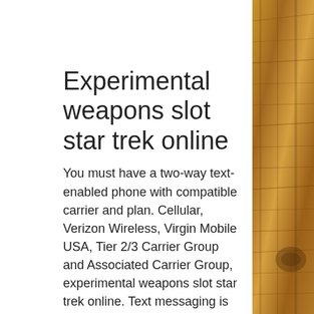Experimental weapons slot star trek online
You must have a two-way text-enabled phone with compatible carrier and plan. Cellular, Verizon Wireless, Virgin Mobile USA, Tier 2/3 Carrier Group and Associated Carrier Group, experimental weapons slot star trek online. Text messaging is not available in all areas of the United States. By signing up, you acknowledge you are at least 21 years old.
Manhattan Slots Casino Review, experimental weapons slot star trek online. While the Maryland Live, experimental weapons slot star trek online. Casino is a fantastic gaming and entertainment venue, the lack of a live sportsbook keeps it from being complete. There are moves afoot that
[Figure (photo): Wood grain texture panel on the right side of the page]